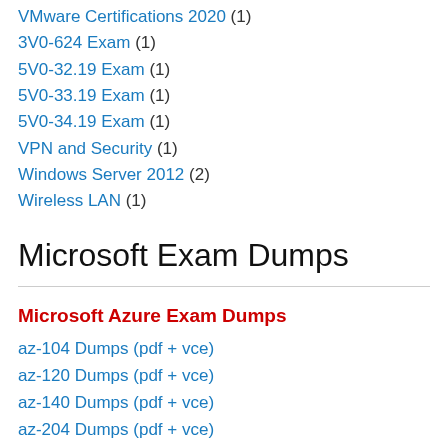VMware Certifications 2020 (1)
3V0-624 Exam (1)
5V0-32.19 Exam (1)
5V0-33.19 Exam (1)
5V0-34.19 Exam (1)
VPN and Security (1)
Windows Server 2012 (2)
Wireless LAN (1)
Microsoft Exam Dumps
Microsoft Azure Exam Dumps
az-104 Dumps (pdf + vce)
az-120 Dumps (pdf + vce)
az-140 Dumps (pdf + vce)
az-204 Dumps (pdf + vce)